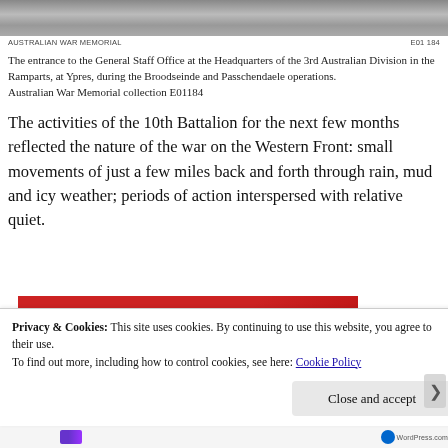[Figure (photo): Grayscale photo strip showing entrance to a building, partially cropped at top]
AUSTRALIAN WAR MEMORIAL
E01 184
The entrance to the General Staff Office at the Headquarters of the 3rd Australian Division in the Ramparts, at Ypres, during the Broodseinde and Passchendaele operations.
Australian War Memorial collection E01184
The activities of the 10th Battalion for the next few months reflected the nature of the war on the Western Front: small movements of just a few miles back and forth through rain, mud and icy weather; periods of action interspersed with relative quiet.
[Figure (photo): Partial advertisement image showing a red device on a red background]
Privacy & Cookies: This site uses cookies. By continuing to use this website, you agree to their use.
To find out more, including how to control cookies, see here: Cookie Policy
Close and accept